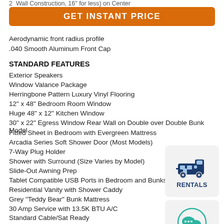2. Wall Construction, 16" for (less) on Center
GET INSTANT PRICE
Aerodynamic front radius profile
.040 Smooth Aluminum Front Cap
STANDARD FEATURES
Exterior Speakers
Window Valance Package
Herringbone Pattern Luxury Vinyl Flooring
12" x 48" Bedroom Room Window
Huge 48" x 12" Kitchen Window
30" x 22" Egress Window Rear Wall on Double over Double Bunk Model
Fitted Sheet in Bedroom with Evergreen Mattress
Arcadia Series Soft Shower Door (Most Models)
7-Way Plug Holder
Shower with Surround (Size Varies by Model)
Slide-Out Awning Prep
Tablet Compatible USB Ports in Bedroom and Bunks
Residential Vanity with Shower Caddy
Grey "Teddy Bear" Bunk Mattress
30 Amp Service with 13.5K BTU A/C
Standard Cable/Sat Ready
Microwave
6 Gal. Gas/Elec DSI
[Figure (illustration): Rentals icon with RV/camper graphic and RENTALS text]
[Figure (illustration): Chat/message bubble icon in teal/green]